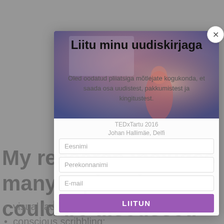My research includes many topics that could be discussed with the scribbling skill:
visual facilitation;
conscious scribbling;
Liitu minu uudiskirjaga
Oled oodatud pliiatsiga mõtlejate kogukonda, et saada osa uudistest, pakkumistest ja kingitustest.
TEDxTartu 2016
Johan Hallimäe, Delfi
Eesnimi
Perekonnanimi
E-mail
LIITUN